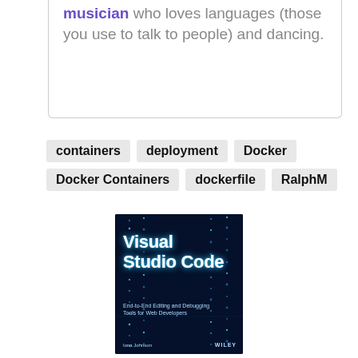musician who loves languages (those you use to talk to people) and dancing.
containers
deployment
Docker
Docker Containers
dockerfile
RalphM
[Figure (illustration): Book cover for 'Visual Studio Code: End-to-End Editing and Debugging Tools for Web Developers' published by Wiley, showing white glowing title text on a dark blue digital/matrix background with cyan dot patterns]